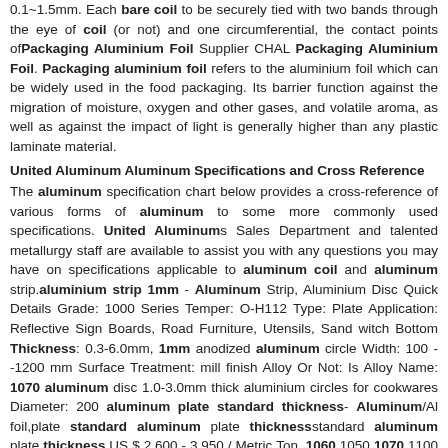0.1~1.5mm. Each bare coil to be securely tied with two bands through the eye of coil (or not) and one circumferential, the contact points of Packaging Aluminium Foil Supplier CHAL Packaging Aluminium Foil. Packaging aluminium foil refers to the aluminium foil which can be widely used in the food packaging. Its barrier function against the migration of moisture, oxygen and other gases, and volatile aroma, as well as against the impact of light is generally higher than any plastic laminate material.
United Aluminum Aluminum Specifications and Cross Reference
The aluminum specification chart below provides a cross-reference of various forms of aluminum to some more commonly used specifications. United Aluminums Sales Department and talented metallurgy staff are available to assist you with any questions you may have on specifications applicable to aluminum coil and aluminum strip. aluminium strip 1mm - Aluminum Strip, Aluminium Disc Quick Details Grade: 1000 Series Temper: O-H112 Type: Plate Application: Reflective Sign Boards, Road Furniture, Utensils, Sand witch Bottom Thickness: 0.3-6.0mm, 1mm anodized aluminum circle Width: 100 --1200 mm Surface Treatment: mill finish Alloy Or Not: Is Alloy Name: 1070 aluminum disc 1.0-3.0mm thick aluminium circles for cookwares Diameter: 200 aluminum plate standard thickness- Aluminum/Al foil,plate standard aluminum plate thicknessstandard aluminum plate thickness,US $ 2,600 - 3,950 / Metric Ton, 1060 1050 1070 1100 3003 3004 3105 5052 5005 6061, O-H112, Plate,Sour